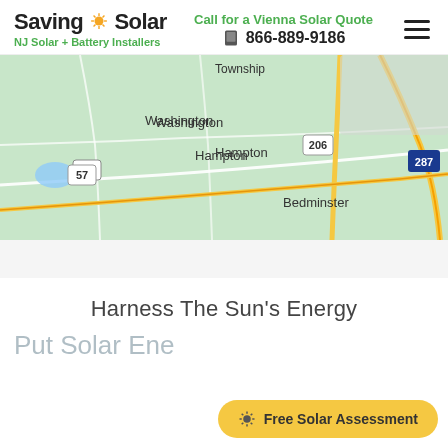SavingOnSolar — NJ Solar + Battery Installers | Call for a Vienna Solar Quote | 866-889-9186
[Figure (map): Road map showing Washington, Hampton, Bedminster area in New Jersey with routes 57, 206, 287 marked. Green terrain map style.]
Harness The Sun's Energy
Put Solar Ene…
Free Solar Assessment